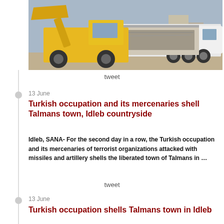[Figure (photo): Construction/excavation scene with a yellow front loader bucket loading debris into a large white dump truck, outdoor urban setting with buildings in the background.]
tweet
13 June
Turkish occupation and its mercenaries shell Talmans town, Idleb countryside
Idleb, SANA- For the second day in a row, the Turkish occupation and its mercenaries of terrorist organizations attacked with missiles and artillery shells the liberated town of Talmans in …
tweet
13 June
Turkish occupation shells Talmans town in Idleb